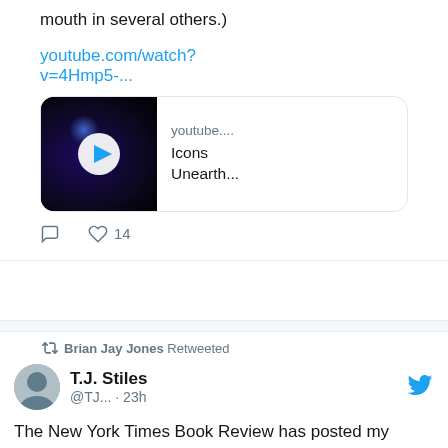mouth in several others.)
youtube.com/watch?v=4Hmp5-...
[Figure (screenshot): YouTube video thumbnail card showing a dark video thumbnail with a play button, youtube.... Icons Unearth...]
14 likes, comment icon, heart icon
Brian Jay Jones Retweeted
T.J. Stiles @TJ... · 23h
The New York Times Book Review has posted my review of a new biography of Jay Gould. The past is a strange place. There they use the same language as